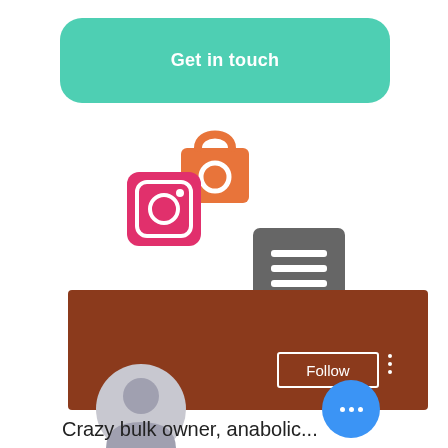[Figure (screenshot): Green teal 'Get in touch' button with rounded corners and white bold text]
[Figure (illustration): Orange shopping bag icon with a circular lock/O symbol]
[Figure (illustration): Hot pink/magenta Instagram icon square with camera outline]
[Figure (illustration): Gray hamburger/menu icon button with three white horizontal lines]
[Figure (screenshot): Social media profile section with brown banner, circular profile avatar placeholder, Follow button outlined in white, vertical three dots menu, blue floating chat bubble with three dots, and text 'Crazy bulk owner, anabolic...']
Crazy bulk owner, anabolic...